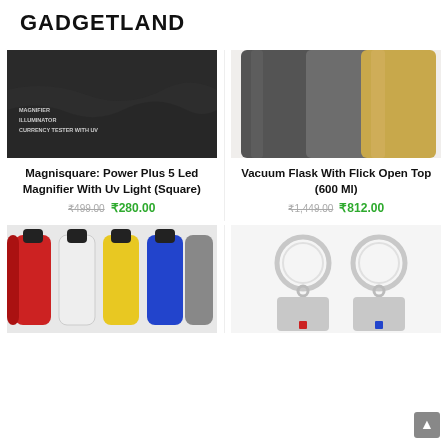GADGETLAND
[Figure (photo): Close-up of Magnisquare power plus 5 LED magnifier with UV light product, dark textured surface with text labels]
Magnisquare: Power Plus 5 Led Magnifier With Uv Light (Square)
₹499.00 ₹280.00
[Figure (photo): Vacuum flasks in dark grey and gold/brass metallic colors side by side]
Vacuum Flask With Flick Open Top (600 Ml)
₹1,449.00 ₹812.00
[Figure (photo): Row of colorful water bottles in red, white, yellow, and blue with black caps]
[Figure (photo): Two metal keychains with rectangular tags, one with red accent and one with blue accent]